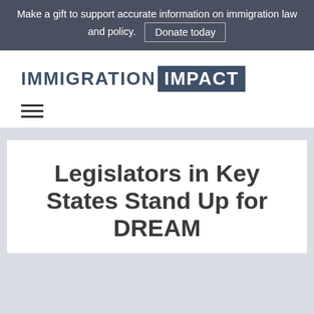Make a gift to support accurate information on immigration law and policy.
[Figure (logo): Immigration Impact logo — IMMIGRATION in slate blue, IMPACT in white on slate blue background]
Legislators in Key States Stand Up for DREAM